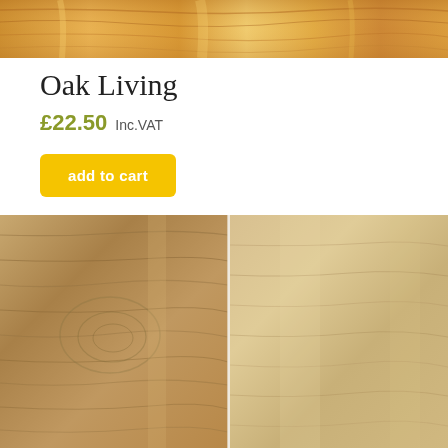[Figure (photo): Close-up photo of oak wood grain texture — warm golden-brown tones]
Oak Living
£22.50 Inc.VAT
add to cart
[Figure (photo): Close-up photo of two oak wood planks side by side — light natural wood grain texture]